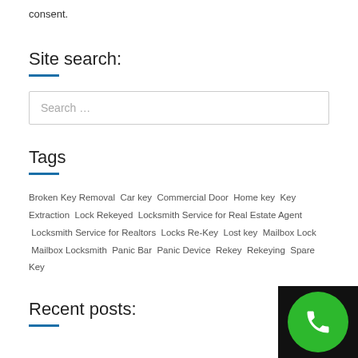consent.
Site search:
[Figure (other): Search input box with placeholder text 'Search …']
Tags
Broken Key Removal  Car key  Commercial Door  Home key  Key Extraction  Lock Rekeyed  Locksmith Service for Real Estate Agent  Locksmith Service for Realtors  Locks Re-Key  Lost key  Mailbox Lock  Mailbox Locksmith  Panic Bar  Panic Device  Rekey  Rekeying  Spare Key
Recent posts:
[Figure (other): Green circle phone call button in bottom-right corner]